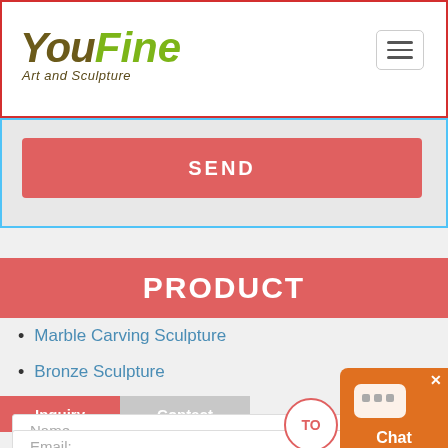YouFine Art and Sculpture
SEND
PRODUCT
Marble Carving Sculpture
Bronze Sculpture
Stainless Steel Sculpture
Inquiry
Contact
Name
Email: